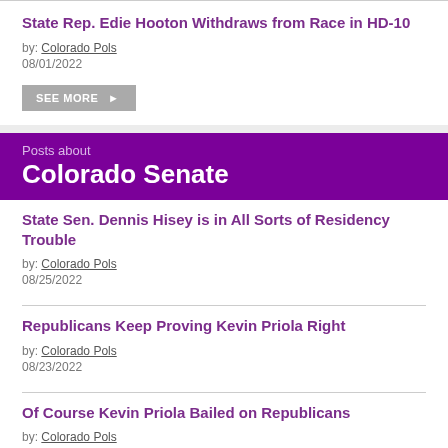State Rep. Edie Hooton Withdraws from Race in HD-10
by: Colorado Pols
08/01/2022
Posts about
Colorado Senate
State Sen. Dennis Hisey is in All Sorts of Residency Trouble
by: Colorado Pols
08/25/2022
Republicans Keep Proving Kevin Priola Right
by: Colorado Pols
08/23/2022
Of Course Kevin Priola Bailed on Republicans
by: Colorado Pols
08/22/2022